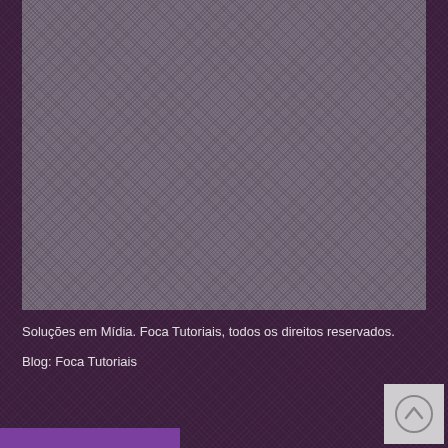[Figure (photo): Large gray textured image placeholder area occupying the upper portion of the page]
Soluções em Mídia. Foca Tutoriais, todos os direitos reservados.
Blog: Foca Tutoriais
[Figure (other): Scroll-to-top button with upward chevron/arrow icon on light gray background in bottom right corner]